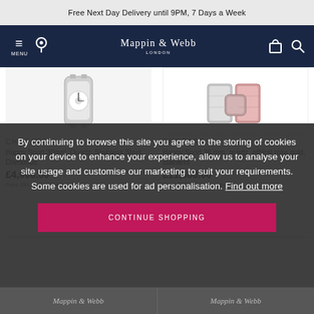Free Next Day Delivery until 9PM, 7 Days a Week
[Figure (screenshot): Mappin & Webb navigation bar with hamburger menu, location pin, logo, bag icon, and search icon on dark navy background]
[Figure (photo): Chopard Happy Sport 30mm watch product image on light background]
CHOPARD
Happy Sport 30mm, Quartz, Stainless Steel, Diamonds
£4,900.00
From £91.88 per month
[Figure (photo): Chopard Happy Sport 36mm rose gold stainless steel watch bracelet product image]
CHOPARD
Happy Sport 36 mm, quartz, ethical rose gold, stainless
£11,600.00
From £217.50 per month
By continuing to browse this site you agree to the storing of cookies on your device to enhance your experience, allow us to analyse your site usage and customise our marketing to suit your requirements. Some cookies are used for ad personalisation. Find out more
CONTINUE SHOPPING